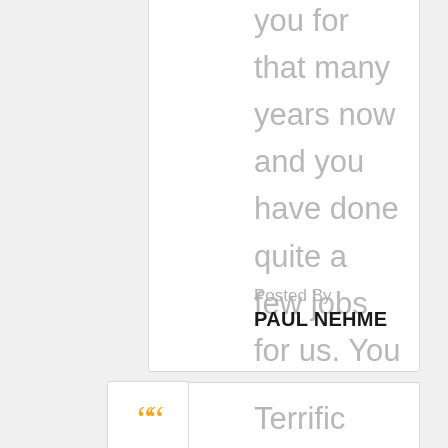you for that many years now and you have done quite a few jobs for us. You always there on time and complete the job in the cleanest of all manners. You not only do the job to perfection but you in choosing the proper style and this almost invariably exemplifies your good taste. Thank you for everything Sam. You are a true gem.
Posted By
PAUL NEHME
Terrific service and a great